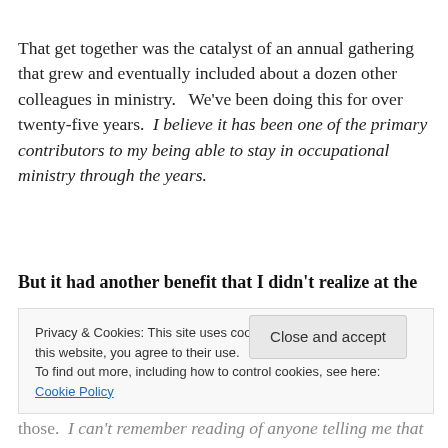That get together was the catalyst of an annual gathering that grew and eventually included about a dozen other colleagues in ministry.   We've been doing this for over twenty-five years.  I believe it has been one of the primary contributors to my being able to stay in occupational ministry through the years.
But it had another benefit that I didn't realize at the
Privacy & Cookies: This site uses cookies. By continuing to use this website, you agree to their use.
To find out more, including how to control cookies, see here: Cookie Policy
Close and accept
those.  I can't remember reading of anyone telling me that